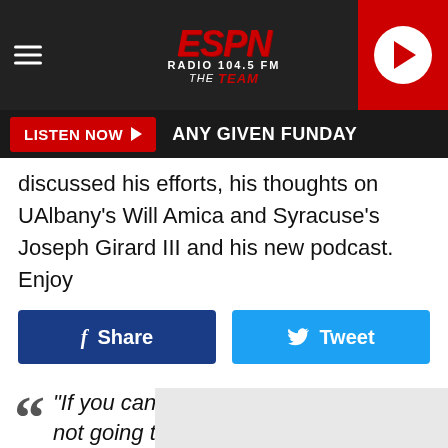[Figure (screenshot): ESPN Radio 104.5 FM The Team website header with hamburger menu, ESPN logo, and red play button]
LISTEN NOW ▶  ANY GIVEN FUNDAY
discussed his efforts, his thoughts on UAlbany's Will Amica and Syracuse's Joseph Girard III and his new podcast. Enjoy
Share  Tweet
"If you can't make it in practice, you're not going to sh